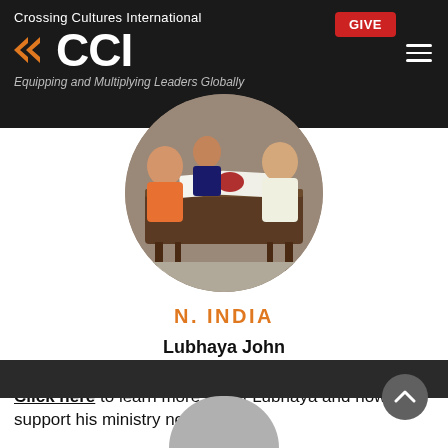Crossing Cultures International | CCI | Equipping and Multiplying Leaders Globally | GIVE
[Figure (photo): Circular cropped photo of a group of people sitting around a wooden table with papers, in an indoor setting.]
N. INDIA
Lubhaya John
Country Coordinator
Click here to learn more about Lubhaya and how to support his ministry needs.